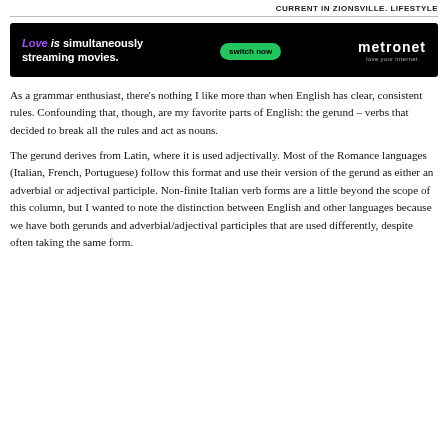CURRENT IN ZIONSVILLE. LIFESTYLE
[Figure (other): Advertisement banner for Metronet internet service. Black background. Text: 'Love is simultaneously streaming movies.' with a green 'switch now' button and Metronet logo with tagline 'love your internet'.]
As a grammar enthusiast, there’s nothing I like more than when English has clear, consistent rules. Confounding that, though, are my favorite parts of English: the gerund – verbs that decided to break all the rules and act as nouns.
The gerund derives from Latin, where it is used adjectivally. Most of the Romance languages (Italian, French, Portuguese) follow this format and use their version of the gerund as either an adverbial or adjectival participle. Non-finite Italian verb forms are a little beyond the scope of this column, but I wanted to note the distinction between English and other languages because we have both gerunds and adverbial/adjectival participles that are used differently, despite often taking the same form.